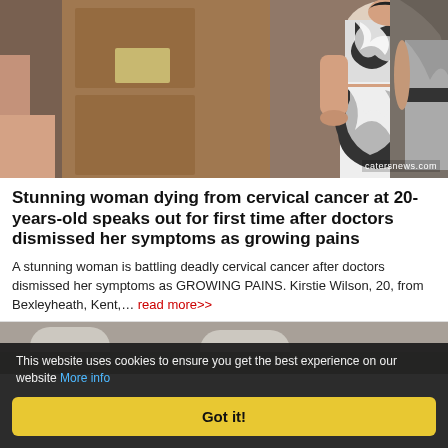[Figure (photo): Two women posing in front of a wooden door; one wearing a black and white patterned two-piece outfit showing midriff, the other partially visible in a dark dress]
Stunning woman dying from cervical cancer at 20-years-old speaks out for first time after doctors dismissed her symptoms as growing pains
A stunning woman is battling deadly cervical cancer after doctors dismissed her symptoms as GROWING PAINS. Kirstie Wilson, 20, from Bexleyheath, Kent,… read more>>
[Figure (photo): Partial view of a room interior, cropped at bottom of page]
This website uses cookies to ensure you get the best experience on our website More info
Got it!